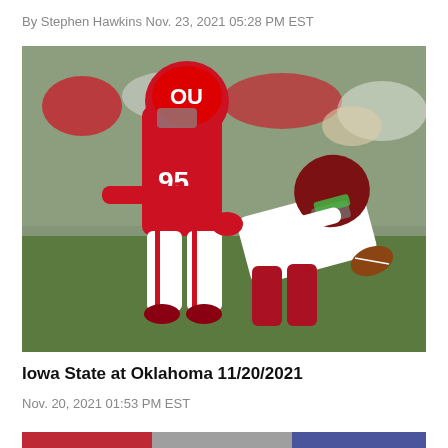By Stephen Hawkins Nov. 23, 2021 05:28 PM EST
[Figure (photo): Oklahoma player #95 in red uniform tackling Iowa State quarterback wearing white uniform on football field, with crowd in background]
Iowa State at Oklahoma 11/20/2021
Nov. 20, 2021 01:53 PM EST
[Figure (photo): Partial view of another football photo at the bottom of the page]